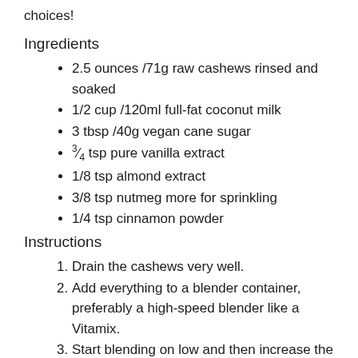choices!
Ingredients
2.5 ounces /71g raw cashews rinsed and soaked
1/2 cup /120ml full-fat coconut milk
3 tbsp /40g vegan cane sugar
¾ tsp pure vanilla extract
1/8 tsp almond extract
3/8 tsp nutmeg more for sprinkling
1/4 tsp cinnamon powder
Instructions
Drain the cashews very well.
Add everything to a blender container, preferably a high-speed blender like a Vitamix.
Start blending on low and then increase the speed to high. Blend 1-2 minutes. Taste and adjust spicing and sweetness.
Chill before serving.